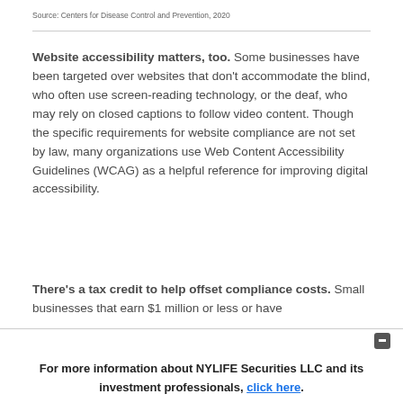Source: Centers for Disease Control and Prevention, 2020
Website accessibility matters, too. Some businesses have been targeted over websites that don't accommodate the blind, who often use screen-reading technology, or the deaf, who may rely on closed captions to follow video content. Though the specific requirements for website compliance are not set by law, many organizations use Web Content Accessibility Guidelines (WCAG) as a helpful reference for improving digital accessibility.
There's a tax credit to help offset compliance costs. Small businesses that earn $1 million or less or have
For more information about NYLIFE Securities LLC and its investment professionals, click here.